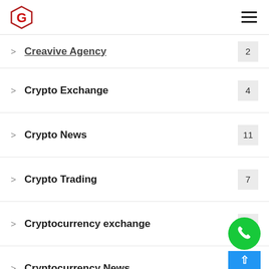G logo and hamburger menu
Creavive Agency 2
Crypto Exchange 4
Crypto News 11
Crypto Trading 7
Cryptocurrency exchange 3
Cryptocurrency News 1
dating 1
dating sites